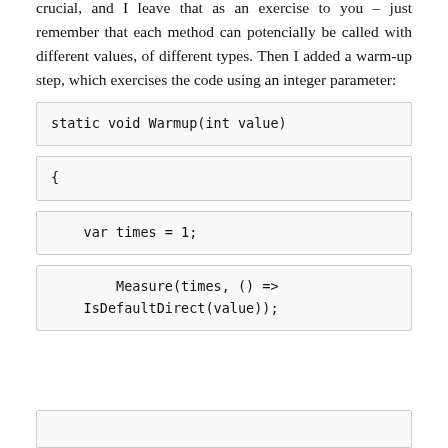crucial, and I leave that as an exercise to you – just remember that each method can potencially be called with different values, of different types. Then I added a warm-up step, which exercises the code using an integer parameter:
static void Warmup(int value)
{
var times = 1;
Measure(times, () =>
    IsDefaultDirect(value));